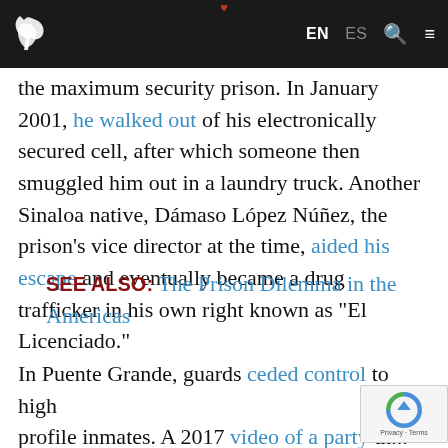EN ES [search] [menu]
the maximum security prison. In January 2001, he walked out of his electronically secured cell, after which someone then smuggled him out in a laundry truck. Another Sinaloa native, Dámaso López Núñez, the prison's vice director at the time, aided his escape and eventually became a drug trafficker in his own right known as "El Licenciado."
SEE ALSO: The Prison Dilemma in the Americas
In Puente Grande, guards ceded control to high profile inmates. A 2017 video of a party th... by CJNG operative José Luis Gutiérrez Vale...